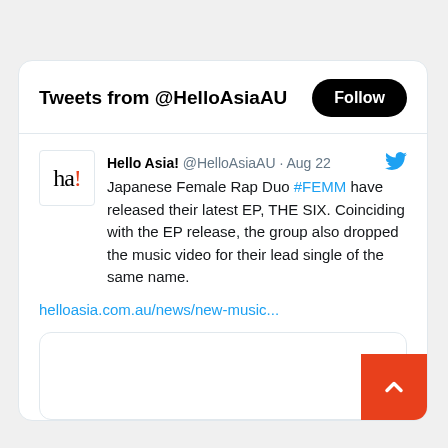Tweets from @HelloAsiaAU
Hello Asia! @HelloAsiaAU · Aug 22
Japanese Female Rap Duo #FEMM have released their latest EP, THE SIX. Coinciding with the EP release, the group also dropped the music video for their lead single of the same name.
helloasia.com.au/news/new-music...
[Figure (screenshot): Embedded image preview area within the tweet card (partially visible, mostly white/blank)]